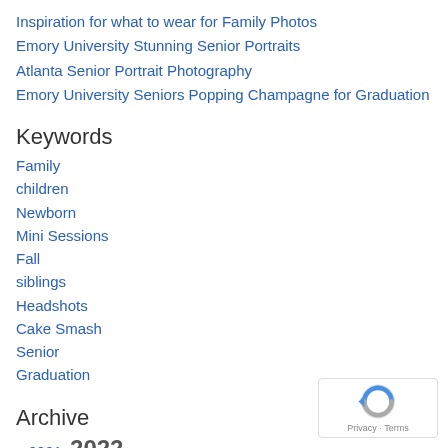Inspiration for what to wear for Family Photos
Emory University Stunning Senior Portraits
Atlanta Senior Portrait Photography
Emory University Seniors Popping Champagne for Graduation
Keywords
Family
children
Newborn
Mini Sessions
Fall
siblings
Headshots
Cake Smash
Senior
Graduation
Archive
« 2021  2022
January (1)